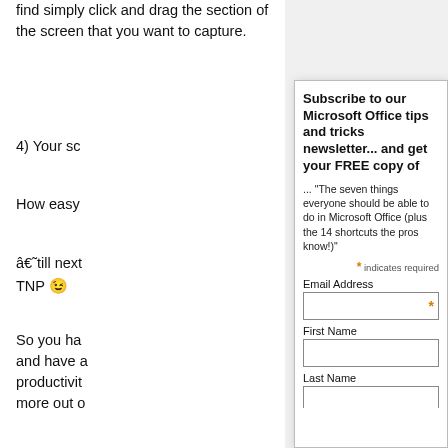find simply click and drag the section of the screen that you want to capture.
4) Your sc
How easy
â€˜till next
TNP 😉
So you ha
and have 
productivit
more out o
Did you kn
templates
will be the
pretty (like
can haveâ
plentytha
[Figure (screenshot): Newsletter subscription popup overlay showing 'Subscribe to our Microsoft Office tips and tricks newsletter... and get your FREE copy of' with quote text, email address field, first name field, and last name field. Orange asterisk for required fields.]
[Figure (logo): Panda icon/logo in top right area]